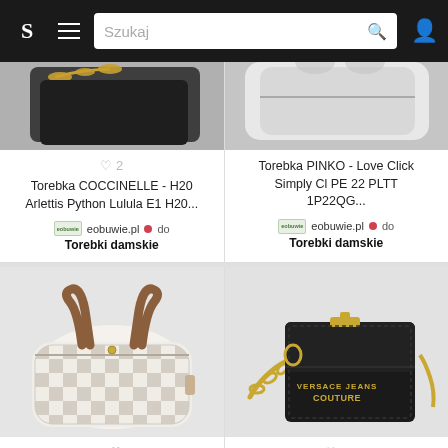S  ≡  Szukaj 🔍  👤
[Figure (photo): Partial view of a handbag with gold chain on dark background (cropped top of product card)]
♡ 2
Torebka COCCINELLE - H20 Arlettis Python Lulula E1 H20...
eobuwie.pl • do Torebki damskie
[Figure (photo): Partial top view of a bag (cropped)]
Torebka PINKO - Love Click Simply Cl PE 22 PLTT 1P22QG...
eobuwie.pl • do Torebki damskie
[Figure (photo): JOOP! Aurora checkered cream and gray handbag with brown leather handles]
+1 ♡ 2
Torebka JOOP! - Aurora 4140005368 Opal Gray 810 Torebka...
[Figure (photo): Versace Jeans Couture small black leather bag with gold chain and logo lettering]
♡ 2
Torebka VERSACE JEANS COUTURE - 71VA4BC5 ZS063 899 Tor...
eobuwie.pl • do Torebki damskie